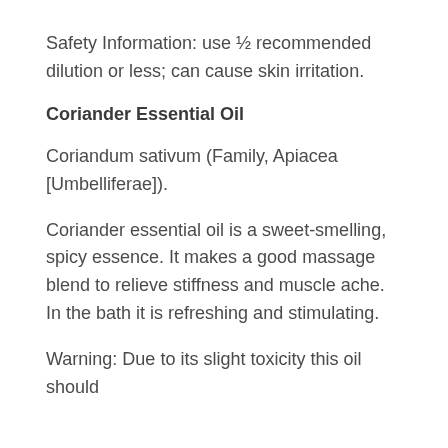Safety Information: use ½ recommended dilution or less; can cause skin irritation.
Coriander Essential Oil
Coriandum sativum (Family, Apiacea [Umbelliferae]).
Coriander essential oil is a sweet-smelling, spicy essence. It makes a good massage blend to relieve stiffness and muscle ache. In the bath it is refreshing and stimulating.
Warning: Due to its slight toxicity this oil should